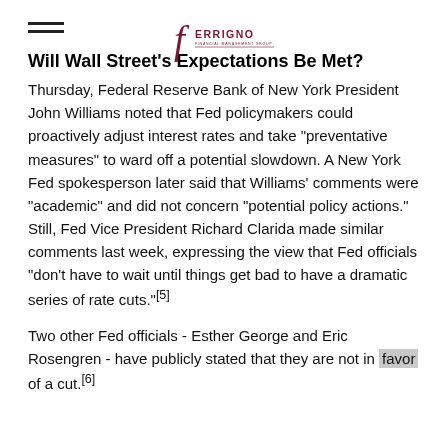FERRIGNO
Will Wall Street's Expectations Be Met?
Thursday, Federal Reserve Bank of New York President John Williams noted that Fed policymakers could proactively adjust interest rates and take "preventative measures" to ward off a potential slowdown. A New York Fed spokesperson later said that Williams' comments were "academic" and did not concern "potential policy actions." Still, Fed Vice President Richard Clarida made similar comments last week, expressing the view that Fed officials "don't have to wait until things get bad to have a dramatic series of rate cuts."[5]
Two other Fed officials - Esther George and Eric Rosengren - have publicly stated that they are not in favor of a cut.[6]